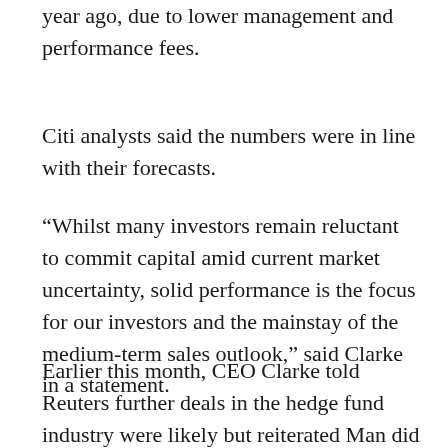analysts said the £200 million a year ago, due to lower management and performance fees.
Citi analysts said the numbers were in line with their forecasts.
“Whilst many investors remain reluctant to commit capital amid current market uncertainty, solid performance is the focus for our investors and the mainstay of the medium-term sales outlook,” said Clarke in a statement.
Earlier this month, CEO Clarke told Reuters further deals in the hedge fund industry were likely but reiterated Man did not plan any more acquisitions of